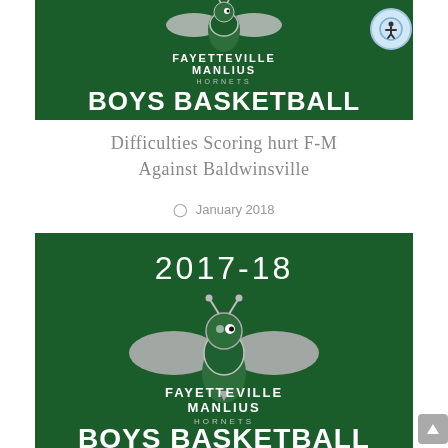[Figure (illustration): Fayetteville-Manlius Hornets Boys Basketball dark green banner with school logo and text BOYS BASKETBALL]
Difficulties Scoring hurt F-M Against Baldwinsville
January 2018
[Figure (illustration): Fayetteville-Manlius Hornets 2017-18 Boys Basketball dark green banner showing year 2017-18, school hornet mascot logo, and partial text BOYS BASKETBALL at bottom]